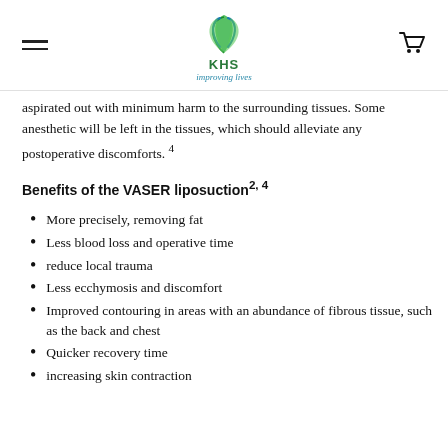KHS improving lives
aspirated out with minimum harm to the surrounding tissues. Some anesthetic will be left in the tissues, which should alleviate any postoperative discomforts. 4
Benefits of the VASER liposuction2, 4
More precisely, removing fat
Less blood loss and operative time
reduce local trauma
Less ecchymosis and discomfort
Improved contouring in areas with an abundance of fibrous tissue, such as the back and chest
Quicker recovery time
increasing skin contraction